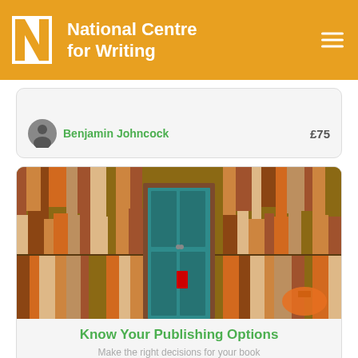National Centre for Writing
Benjamin Johncock   £75
[Figure (photo): Wall of books with a teal door in the center and a red object on the door]
Know Your Publishing Options
Make the right decisions for your book